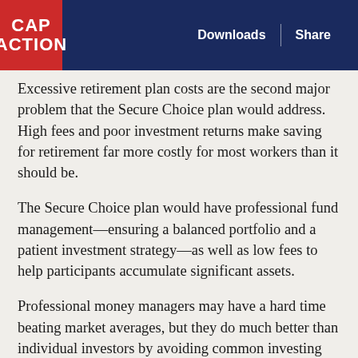CAP ACTION | Downloads | Share
Excessive retirement plan costs are the second major problem that the Secure Choice plan would address. High fees and poor investment returns make saving for retirement far more costly for most workers than it should be.
The Secure Choice plan would have professional fund management—ensuring a balanced portfolio and a patient investment strategy—as well as low fees to help participants accumulate significant assets.
Professional money managers may have a hard time beating market averages, but they do much better than individual investors by avoiding common investing mistakes—such as failing to diversify. Secure Choice Retirement plans would also have higher returns due to